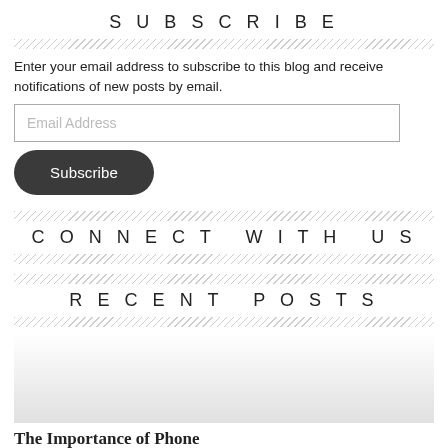SUBSCRIBE
Enter your email address to subscribe to this blog and receive notifications of new posts by email.
CONNECT WITH US
RECENT POSTS
[Figure (photo): Faded gray/white gradient image area below RECENT POSTS header]
The Importance of Phone